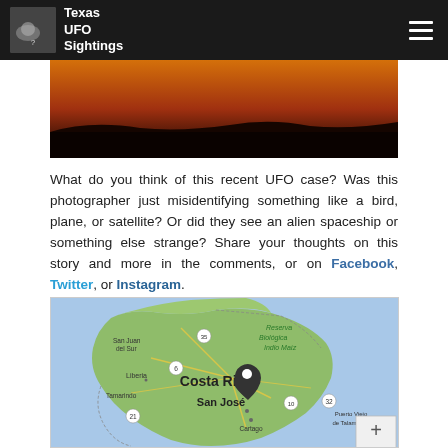Texas UFO Sightings
[Figure (photo): Orange and dark gradient image strip — appears to be a sunset or glowing object photo]
What do you think of this recent UFO case? Was this photographer just misidentifying something like a bird, plane, or satellite? Or did they see an alien spaceship or something else strange? Share your thoughts on this story and more in the comments, or on Facebook, Twitter, or Instagram.
[Figure (map): Google Maps view of Costa Rica showing San José with a location pin, surrounding cities including Liberia, Tamarindo, Cartago, Puerto Viejo de Talamanca, San Juan del Sur, and the Reserva Biológica Indio Maíz region. Road numbers 6, 21, 10, 32, 35 visible. Plus zoom button in bottom right.]